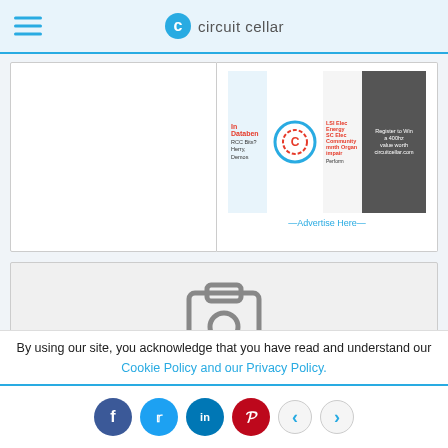circuit cellar
[Figure (screenshot): Advertisement banner for a data/electronics event or product with red, white and dark sections showing text about data, community, and registration]
—Advertise Here—
[Figure (illustration): User/profile placeholder icon showing a person ID badge silhouette in grey on light grey background]
By using our site, you acknowledge that you have read and understand our Cookie Policy and our Privacy Policy.
Social share buttons: Facebook, Twitter, LinkedIn, Pinterest, and navigation arrows